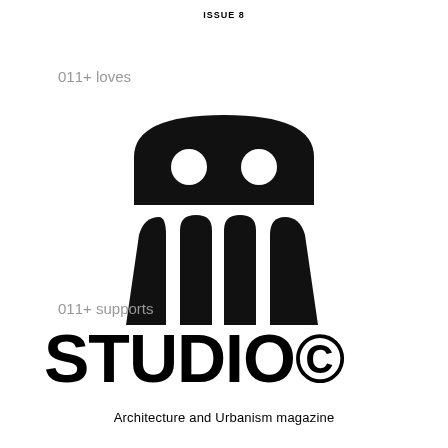ISSUE 8
011+ loves
[Figure (logo): Black stylized building/robot icon: a rounded rectangular head with two circular eye cutouts on top, and three arched doorway/window shapes below forming a colonnade]
011+ supports
[Figure (logo): STUDIO© logotype in large bold black sans-serif letters]
Architecture and Urbanism magazine